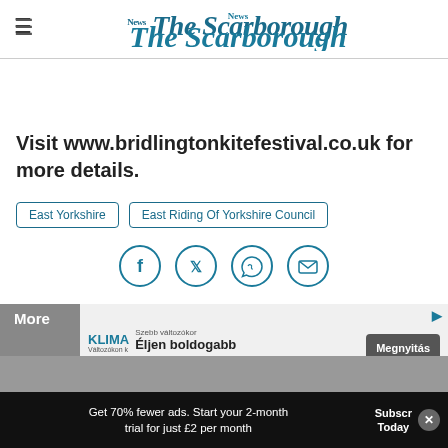The Scarborough News
Visit www.bridlingtonkitefestival.co.uk for more details.
East Yorkshire
East Riding Of Yorkshire Council
[Figure (other): Social sharing icons row: Facebook, Twitter, WhatsApp, Email — circular teal outlined icons]
More
[Figure (other): Advertisement overlay: KLIMA brand ad with text 'Szebb változókor Éljen boldogabb változókort' and 'Megnyitás' button]
Get 70% fewer ads. Start your 2-month trial for just £2 per month
Subscribe Today